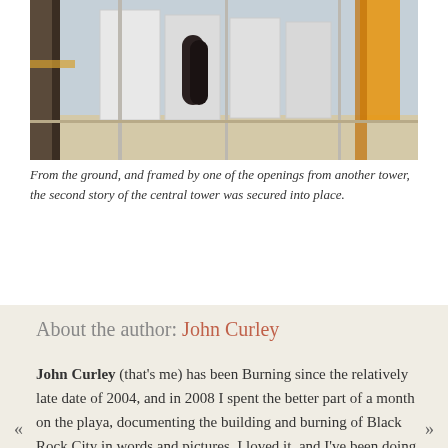[Figure (photo): Construction photo showing large white modular panels and arched opening being assembled into a tower structure, with a crane/construction equipment visible, taken from ground level framed through an arch opening of another tower.]
From the ground, and framed by one of the openings from another tower, the second story of the central tower was secured into place.
About the author: John Curley
John Curley (that's me) has been Burning since the relatively late date of 2004, and in 2008 I spent the better part of a month on the playa, documenting the building and burning of Black Rock City in words and pictures. I loved it, and I've been doing it ever since. I was a newspaper person in a previous life, and I spent many years at the San Francisco...